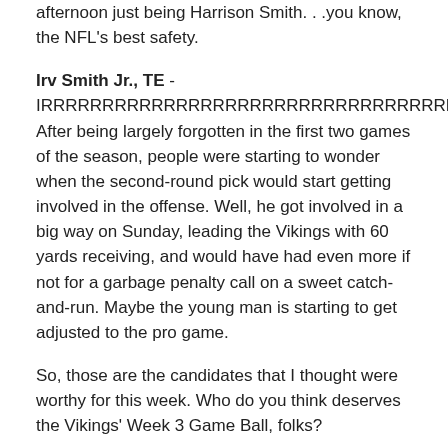afternoon just being Harrison Smith. . .you know, the NFL's best safety.
Irv Smith Jr., TE - IRRRRRRRRRRRRRRRRRRRRRRRRRRRRRRRRRRRRV! After being largely forgotten in the first two games of the season, people were starting to wonder when the second-round pick would start getting involved in the offense. Well, he got involved in a big way on Sunday, leading the Vikings with 60 yards receiving, and would have had even more if not for a garbage penalty call on a sweet catch-and-run. Maybe the young man is starting to get adjusted to the pro game.
So, those are the candidates that I thought were worthy for this week. Who do you think deserves the Vikings' Week 3 Game Ball, folks?